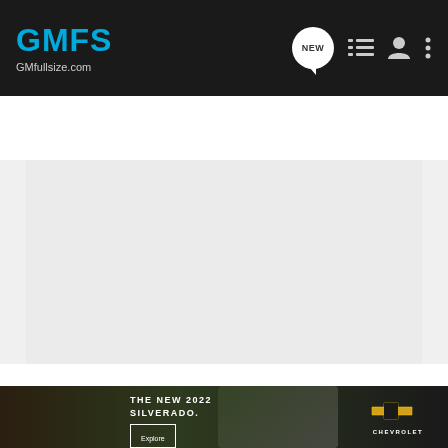[Figure (screenshot): GMFS GMfullsize.com navigation bar with logo, NEW message bubble icon, list icon, user icon, and more (⋮) icon on dark background]
[Figure (screenshot): Search Community search bar on dark grey background with magnifying glass icon]
[Figure (screenshot): Main forum content area placeholder - light grey rectangle]
[Figure (screenshot): Advertisement banner: THE NEW 2022 SILVERADO. with Explore button and Chevrolet logo, dark background with truck image]